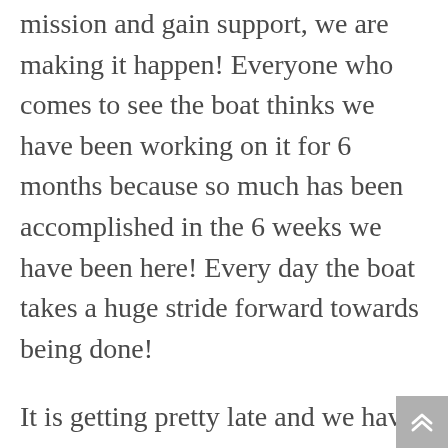mission and gain support, we are making it happen! Everyone who comes to see the boat thinks we have been working on it for 6 months because so much has been accomplished in the 6 weeks we have been here! Every day the boat takes a huge stride forward towards being done!
It is getting pretty late and we have to be up in 6 hours to head down to the boat, so I'll pick this up tomorrow. I was chatting with my mom earlier